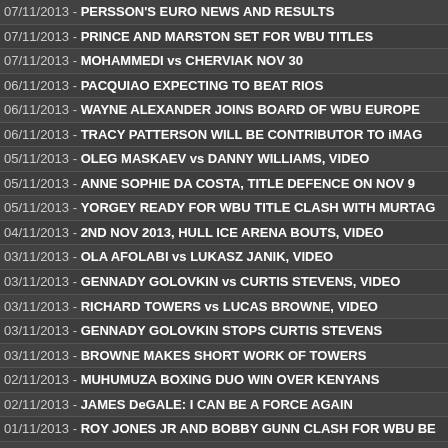07/11/2013 - PERSSON'S EURO NEWS AND RESULTS
07/11/2013 - PRINCE AND MARSTON SET FOR WBU TITLES
07/11/2013 - MOHAMMEDI vs CHERVIAK NOV 30
06/11/2013 - PACQUIAO EXPECTING TO BEAT RIOS
06/11/2013 - WAYNE ALEXANDER JOINS BOARD OF WBU EUROPE
06/11/2013 - TRACY PATTERSON WILL BE CONTRIBUTOR TO iMAG
05/11/2013 - OLEG MASKAEV vs DANNY WILLIAMS, VIDEO
05/11/2013 - ANNE SOPHIE DA COSTA, TITLE DEFENCE ON NOV 9
05/11/2013 - YORGEY READY FOR WBU TITLE CLASH WITH MURTAG
04/11/2013 - 2ND NOV 2013, HULL ICE ARENA BOUTS, VIDEO
03/11/2013 - OLA AFOLABI vs LUKASZ JANIK, VIDEO
03/11/2013 - GENNADY GOLOVKIN vs CURTIS STEVENS, VIDEO
03/11/2013 - RICHARD TOWERS vs LUCAS BROWNE, VIDEO
03/11/2013 - GENNADY GOLOVKIN STOPS CURTIS STEVENS
03/11/2013 - BROWNE MAKES SHORT WORK OF TOWERS
02/11/2013 - MUHUMUZA BOXING DUO WIN OVER KENYANS
02/11/2013 - JAMES DeGALE: I CAN BE A FORCE AGAIN
01/11/2013 - ROY JONES JR AND BOBBY GUNN CLASH FOR WBU BE
01/11/2013 - WOOD vs MURRAY AS AUSTRALIAN BOXING SURVIVAL
01/11/2013 - JAY-Z INSPIRED BOXER ANTHONY JOSHUA TO SUCCES
01/11/2013 - WARZONE: XTREMTE COMBAT EVENT, NOV 30TH
30/10/2013 - PERSSON'S EURO NEWS AND RESULTS
30/10/2013 - PACQUIAO WAS SO CARELESS AGAINST MARQUEZ
30/10/2013 - STUART HALL FOR THE VACANT IBF BANTAMWEIGHT T
30/10/2013 - TOMMY MARTIN BACK IN ACTION NOV 29TH
29/10/2013 - AGBEKO JOINS MAYWEATHER CAMP
29/10/2013 - WBU LAUNCH EUROPEAN TITLES